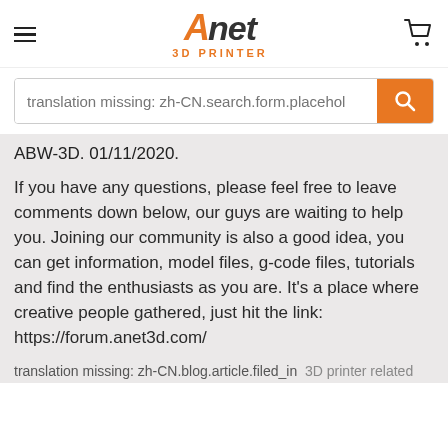Anet 3D Printer — navigation header with hamburger menu and cart icon
translation missing: zh-CN.search.form.placehol
ABW-3D. 01/11/2020.
If you have any questions, please feel free to leave comments down below, our guys are waiting to help you. Joining our community is also a good idea, you can get information, model files, g-code files, tutorials and find the enthusiasts as you are. It's a place where creative people gathered, just hit the link: https://forum.anet3d.com/
translation missing: zh-CN.blog.article.filed_in  3D printer related